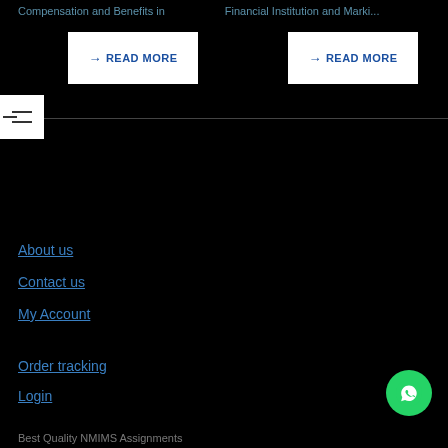Compensation and Benefits in     Financial Institution and Marki...
→ READ MORE
→ READ MORE
About us
Contact us
My Account
Order tracking
Login
[Figure (other): WhatsApp chat button (green circle with phone icon)]
Best Quality NMIMS Assignments